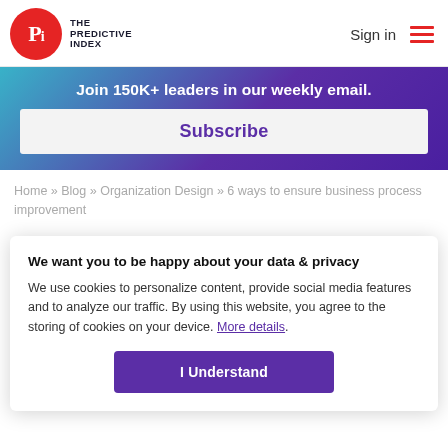THE PREDICTIVE INDEX — Sign in
Join 150K+ leaders in our weekly email.
Subscribe
Home » Blog » Organization Design » 6 ways to ensure business process improvement
We want you to be happy about your data & privacy
We use cookies to personalize content, provide social media features and to analyze our traffic. By using this website, you agree to the storing of cookies on your device. More details.
I Understand